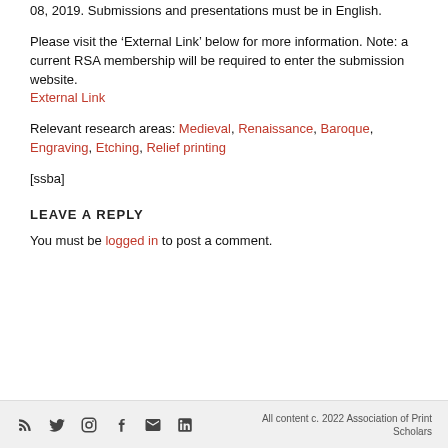08, 2019. Submissions and presentations must be in English.
Please visit the 'External Link' below for more information. Note: a current RSA membership will be required to enter the submission website.
External Link
Relevant research areas: Medieval, Renaissance, Baroque, Engraving, Etching, Relief printing
[ssba]
LEAVE A REPLY
You must be logged in to post a comment.
All content c. 2022 Association of Print Scholars